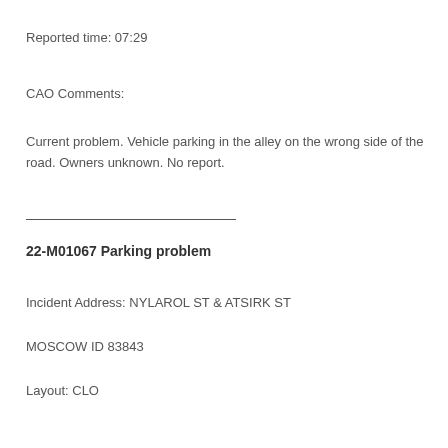Reported time: 07:29
CAO Comments:
Current problem. Vehicle parking in the alley on the wrong side of the road. Owners unknown. No report.
22-M01067 Parking problem
Incident Address: NYLAROL ST & ATSIRK ST
MOSCOW ID 83843
Layout: CLO